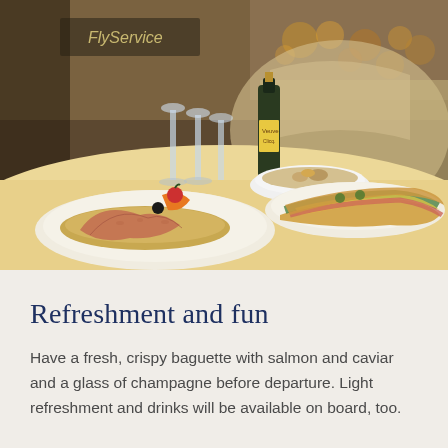[Figure (photo): Airport lounge or restaurant scene showing a table with food: plates with baguettes topped with charcuterie/salmon and garnishes, sandwiches with salad and cheese, a bowl of snacks, champagne bottle and wine glasses in the background. FlyService branding visible on signage.]
Refreshment and fun
Have a fresh, crispy baguette with salmon and caviar and a glass of champagne before departure. Light refreshment and drinks will be available on board, too.